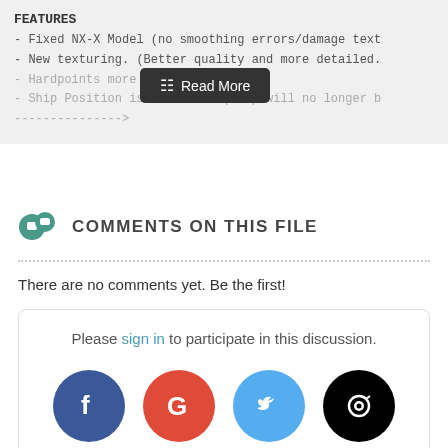FEATURES
- Fixed NX-X Model (no smoothing errors/damage text
- New texturing. (Better quality and more detailed.
- Hardpoints more a
- Ship Position is corrected (ship will no longer b
--------------->
[Figure (screenshot): Read More button overlay on features box]
COMMENTS ON THIS FILE
There are no comments yet. Be the first!
Please sign in to participate in this discussion.
[Figure (infographic): Social login icons: Facebook, Google, Twitter, Steam]